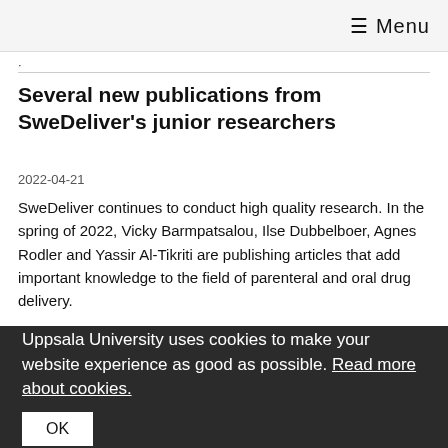☰ Menu
·
Several new publications from SweDeliver's junior researchers
2022-04-21
SweDeliver continues to conduct high quality research. In the spring of 2022, Vicky Barmpatsalou, Ilse Dubbelboer, Agnes Rodler and Yassir Al-Tikriti are publishing articles that add important knowledge to the field of parenteral and oral drug delivery.
SweDeliver Retreat 2022 receiving top marks
Uppsala University uses cookies to make your website experience as good as possible. Read more about cookies.